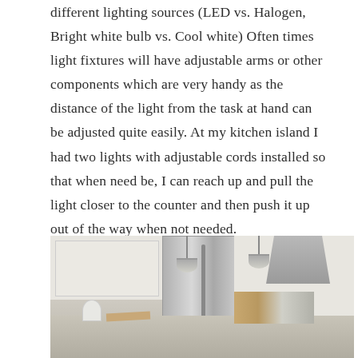different lighting sources (LED vs. Halogen, Bright white bulb vs. Cool white) Often times light fixtures will have adjustable arms or other components which are very handy as the distance of the light from the task at hand can be adjusted quite easily. At my kitchen island I had two lights with adjustable cords installed so that when need be, I can reach up and pull the light closer to the counter and then push it up out of the way when not needed.
[Figure (photo): A bright white kitchen with stainless steel refrigerator, pendant lights hanging over a marble kitchen island, range hood, white cabinetry, flowers in a vase on the island, and various kitchen items on the counter.]